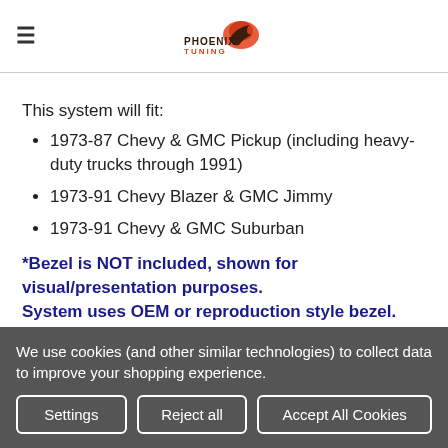Phoenix Tuning logo header with hamburger menu
This system will fit:
1973-87 Chevy & GMC Pickup (including heavy-duty trucks through 1991)
1973-91 Chevy Blazer & GMC Jimmy
1973-91 Chevy & GMC Suburban
*Bezel is NOT included, shown for visual/presentation purposes.
System uses OEM or reproduction style bezel.
The RTX series is the latest from Dakota Digital, focused on
We use cookies (and other similar technologies) to collect data to improve your shopping experience.